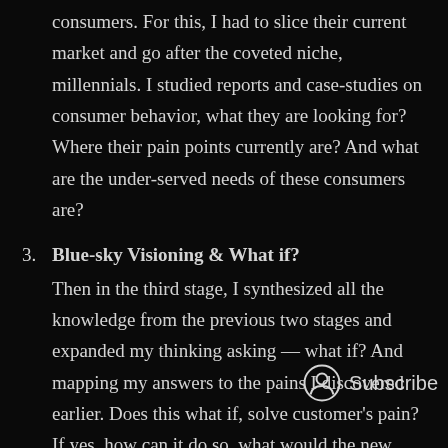consumers. For this, I had to slice their current market and go after the coveted niche, millennials. I studied reports and case-studies on consumer behavior, what they are looking for? Where their pain points currently are? And what are the under-served needs of these consumers are?
3. Blue-sky Visioning & What if? Then in the third stage, I synthesized all the knowledge from the previous two stages and expanded my thinking asking — what if? And mapping my answers to the pains I discovered earlier. Does this what if, solve customer's pain? If yes, how can it do so, what would the new journey look like?
4. Technical Validation & Solution. The final stage was the technical validation of the